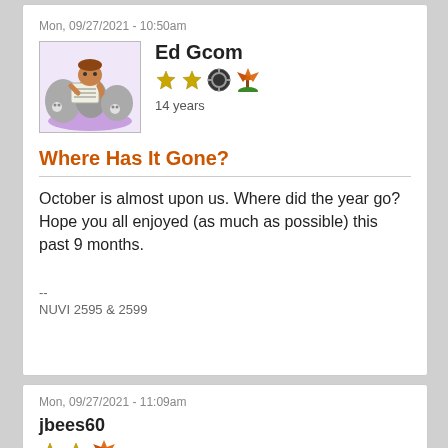Mon, 09/27/2021 - 10:50am
[Figure (illustration): Cartoon avatar of a caveman-like character sitting among large rocks, reading a newspaper, on a purple mat. Small skull decorations visible.]
Ed Gcom
[Figure (illustration): User badges: two gold stars, a circular dark badge, and a windmill/orange icon]
14 years
Where Has It Gone?
October is almost upon us. Where did the year go? Hope you all enjoyed (as much as possible) this past 9 months.
--
NUVI 2595 & 2599
Mon, 09/27/2021 - 11:09am
jbees60
[Figure (illustration): User badges: two gold stars and a windmill/orange icon]
9 years